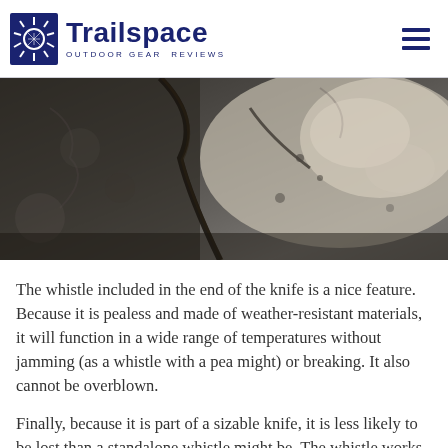Trailspace — OUTDOOR GEAR REVIEWS
[Figure (photo): Close-up macro photograph of rough stone or rock surface in sepia/grayscale tones, showing texture and cracks]
The whistle included in the end of the knife is a nice feature. Because it is pealess and made of weather-resistant materials, it will function in a wide range of temperatures without jamming (as a whistle with a pea might) or breaking. It also cannot be overblown.
Finally, because it is part of a sizable knife, it is less likely to be lost than a standalone whistle might be. The whistle works easily and loudly. An app on my phone (Decibel